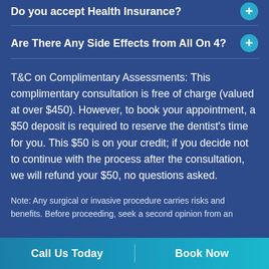Do you accept Health Insurance?
Are There Any Side Effects from All On 4?
T&C on Complimentary Assessments: This complimentary consultation is free of charge (valued at over $450). However, to book your appointment, a $50 deposit is required to reserve the dentist's time for you. This $50 is on your credit; if you decide not to continue with the process after the consultation, we will refund your $50, no questions asked.
Note: Any surgical or invasive procedure carries risks and benefits. Before proceeding, seek a second opinion from an
Call Us Today    Book Now